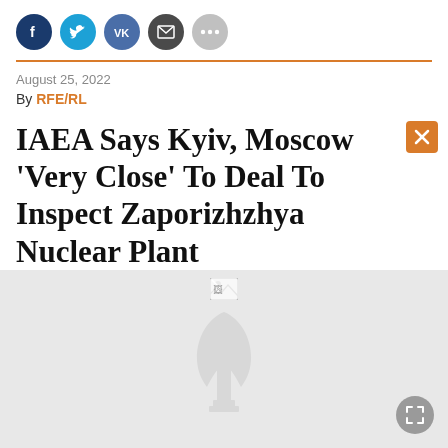[Figure (other): Social media sharing icons: Facebook (dark blue), Twitter (light blue), VKontakte (medium blue), Email (dark gray), More/ellipsis (light gray)]
August 25, 2022
By RFE/RL
IAEA Says Kyiv, Moscow 'Very Close' To Deal To Inspect Zaporizhzhya Nuclear Plant
[Figure (photo): Image placeholder with RFE/RL logo watermark (gray leaf/torch symbol) on light gray background. Broken image icon at top center. Expand/fullscreen button at bottom right.]